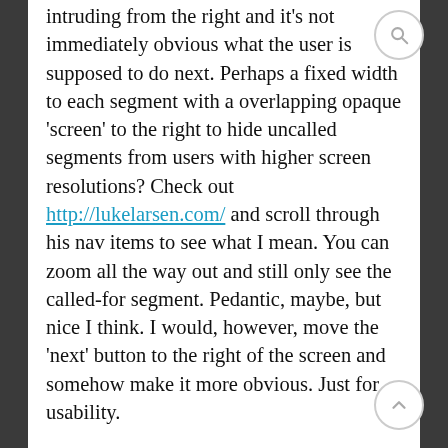intruding from the right and it's not immediately obvious what the user is supposed to do next. Perhaps a fixed width to each segment with a overlapping opaque 'screen' to the right to hide uncalled segments from users with higher screen resolutions? Check out http://lukelarsen.com/ and scroll through his nav items to see what I mean. You can zoom all the way out and still only see the called-for segment. Pedantic, maybe, but nice I think. I would, however, move the 'next' button to the right of the screen and somehow make it more obvious. Just for usability.
Overstaying my welcome, perhaps, but is it just me or is there a big flicker when I mouseover the